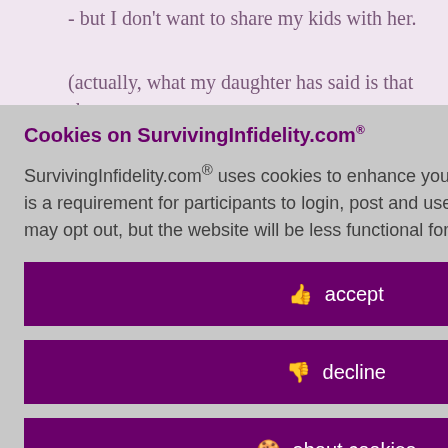- but I don't want to share my kids with her.
(actually, what my daughter has said is that she ... d me and
-- the affair had
Cookies on SurvivingInfidelity.com®
SurvivingInfidelity.com® uses cookies to enhance your visit to our website. This is a requirement for participants to login, post and use other features. Visitors may opt out, but the website will be less functional for you.
accept
decline
about cookies
Policy